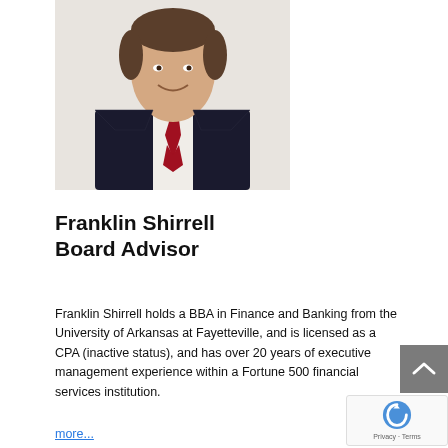[Figure (photo): Headshot of Franklin Shirrell, a man in a black suit with a white dress shirt and red tie, smiling, professional portrait photo.]
Franklin Shirrell
Board Advisor
Franklin Shirrell holds a BBA in Finance and Banking from the University of Arkansas at Fayetteville, and is licensed as a CPA (inactive status), and has over 20 years of executive management experience within a Fortune 500 financial services institution.
more...